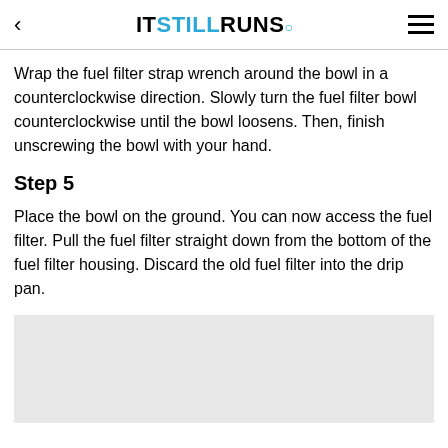< ITSTILLRUNS. ≡
Wrap the fuel filter strap wrench around the bowl in a counterclockwise direction. Slowly turn the fuel filter bowl counterclockwise until the bowl loosens. Then, finish unscrewing the bowl with your hand.
Step 5
Place the bowl on the ground. You can now access the fuel filter. Pull the fuel filter straight down from the bottom of the fuel filter housing. Discard the old fuel filter into the drip pan.
[Figure (photo): Gray placeholder image area at the bottom of the page]